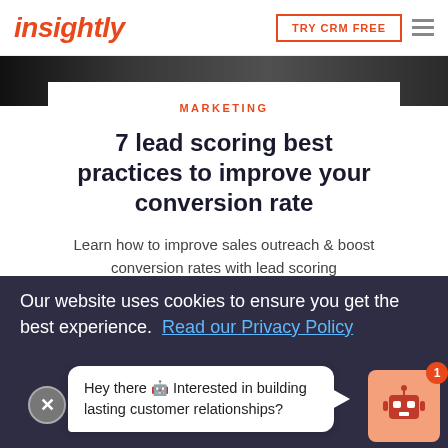insightly | TRY CRM FREE
[Figure (photo): Dark hero image banner at top of article page]
MARKETING
7 lead scoring best practices to improve your conversion rate
Learn how to improve sales outreach & boost conversion rates with lead scoring
Our website uses cookies to ensure you get the best experience. Read our Privacy Policy
Hey there ? Interested in building lasting customer relationships?